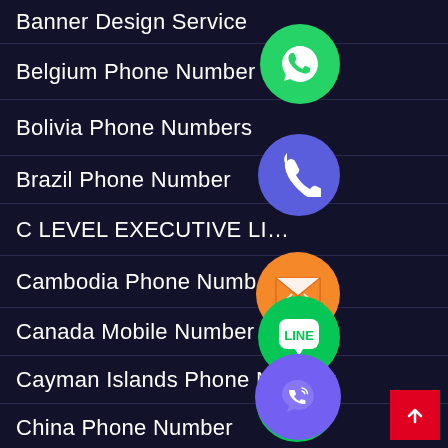Banner Design Service
Belgium Phone Number
Bolivia Phone Numbers
Brazil Phone Number
C LEVEL EXECUTIVE LI…
Cambodia Phone Numb…
Canada Mobile Number
Cayman Islands Phone Number
China Phone Number
[Figure (illustration): WhatsApp green circle icon overlapping Belgium Phone Number row]
[Figure (illustration): Phone/call blue-purple circle icon overlapping Bolivia Phone Numbers row]
[Figure (illustration): Email/envelope orange circle icon overlapping C LEVEL EXECUTIVE LI row]
[Figure (illustration): LINE green circle icon overlapping Cambodia Phone Number row]
[Figure (illustration): Viber purple circle icon overlapping Canada/Cayman rows]
[Figure (illustration): Green circle X icon overlapping China Phone Number row]